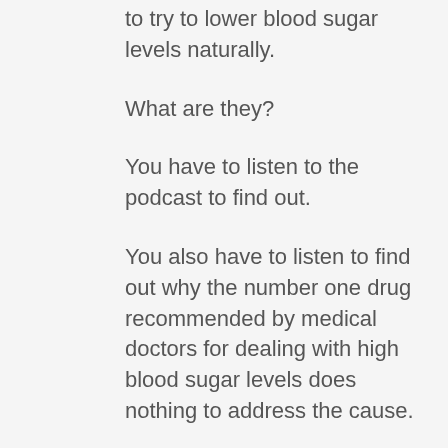to try to lower blood sugar levels naturally.
What are they?
You have to listen to the podcast to find out.
You also have to listen to find out why the number one drug recommended by medical doctors for dealing with high blood sugar levels does nothing to address the cause.
Nor is it as safe as the supplements we discuss.
Get out your pen and paper as you listen and, if you're interested in ordering any of the supplements mentioned, you can do